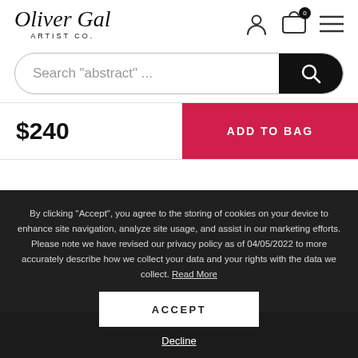[Figure (logo): Oliver Gal Artist Co. logo in cursive script]
Search "abstract" ...
$240
ADD TO BAG
By clicking "Accept", you agree to the storing of cookies on your device to enhance site navigation, analyze site usage, and assist in our marketing efforts. Please note we have revised our privacy policy as of 04/05/2022 to more accurately describe how we collect your data and your rights with the data we collect. Read More
ACCEPT
Decline